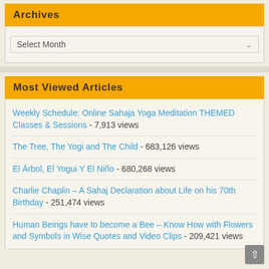Archives
Select Month
Most Viewed Articles
Weekly Schedule: Online Sahaja Yoga Meditation THEMED Classes & Sessions - 7,913 views
The Tree, The Yogi and The Child - 683,126 views
El Árbol, El Yogui Y El Niño - 680,268 views
Charlie Chaplin – A Sahaj Declaration about Life on his 70th Birthday - 251,474 views
Human Beings have to become a Bee – Know How with Flowers and Symbols in Wise Quotes and Video Clips - 209,421 views